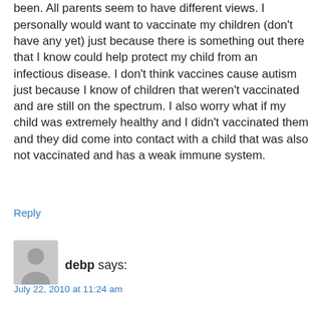been. All parents seem to have different views. I personally would want to vaccinate my children (don't have any yet) just because there is something out there that I know could help protect my child from an infectious disease. I don't think vaccines cause autism just because I know of children that weren't vaccinated and are still on the spectrum. I also worry what if my child was extremely healthy and I didn't vaccinated them and they did come into contact with a child that was also not vaccinated and has a weak immune system.
Reply
[Figure (illustration): Gray avatar/placeholder icon showing a silhouette of a person]
debp says:
July 22, 2010 at 11:24 am